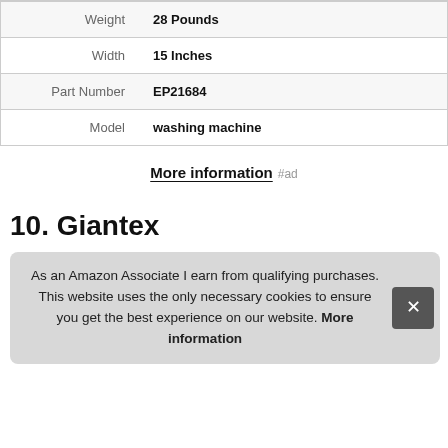| Attribute | Value |
| --- | --- |
| Weight | 28 Pounds |
| Width | 15 Inches |
| Part Number | EP21684 |
| Model | washing machine |
More information #ad
10. Giantex
As an Amazon Associate I earn from qualifying purchases. This website uses the only necessary cookies to ensure you get the best experience on our website. More information